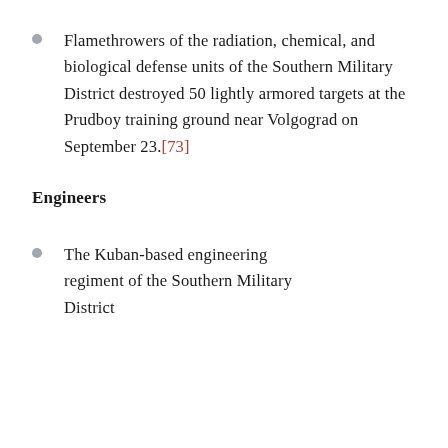Flamethrowers of the radiation, chemical, and biological defense units of the Southern Military District destroyed 50 lightly armored targets at the Prudboy training ground near Volgograd on September 23.[73]
Engineers
The Kuban-based engineering regiment of the Southern Military District liked the 11th engineering...